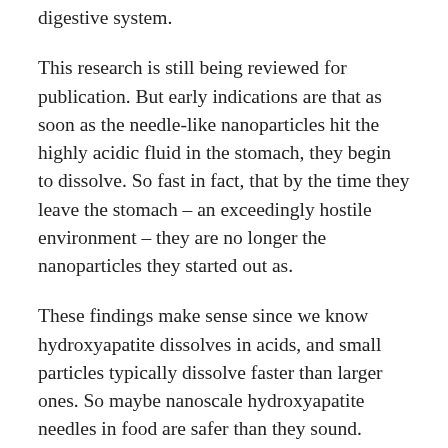digestive system.
This research is still being reviewed for publication. But early indications are that as soon as the needle-like nanoparticles hit the highly acidic fluid in the stomach, they begin to dissolve. So fast in fact, that by the time they leave the stomach – an exceedingly hostile environment – they are no longer the nanoparticles they started out as.
These findings make sense since we know hydroxyapatite dissolves in acids, and small particles typically dissolve faster than larger ones. So maybe nanoscale hydroxyapatite needles in food are safer than they sound.
This doesn't mean that the nano-needles are completely off the hook, as some of them may get past the stomach intact and reach more vulnerable parts of the gut. But the findings do suggest these ultra-small needle-like particles could be an effective source of dietary calcium – possibly more so than larger or less needle-like particles that may not dissolve as